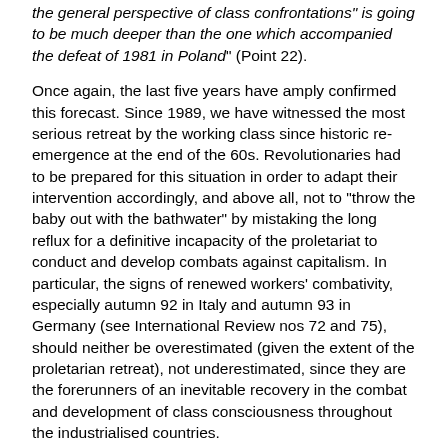the general perspective of class confrontations" is going to be much deeper than the one which accompanied the defeat of 1981 in Poland" (Point 22).
Once again, the last five years have amply confirmed this forecast. Since 1989, we have witnessed the most serious retreat by the working class since historic re-emergence at the end of the 60s. Revolutionaries had to be prepared for this situation in order to adapt their intervention accordingly, and above all, not to "throw the baby out with the bathwater" by mistaking the long reflux for a definitive incapacity of the proletariat to conduct and develop combats against capitalism. In particular, the signs of renewed workers' combativity, especially autumn 92 in Italy and autumn 93 in Germany (see International Review nos 72 and 75), should neither be overestimated (given the extent of the proletarian retreat), not underestimated, since they are the forerunners of an inevitable recovery in the combat and development of class consciousness throughout the industrialised countries.
Marxism is a scientific method. However, unlike the natural sciences it cannot verify its theories in laboratory conditions, or by improving its recording technology. Marxism's "laboratory" is social reality, and it demonstrates its validity through its ability to forecast that reality's